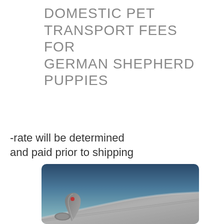DOMESTIC PET TRANSPORT FEES FOR GERMAN SHEPHERD PUPPIES
-rate will be determined and paid prior to shipping
[Figure (photo): View from airplane window showing the wing tip and winglet of a commercial aircraft against a clear blue sky gradient.]